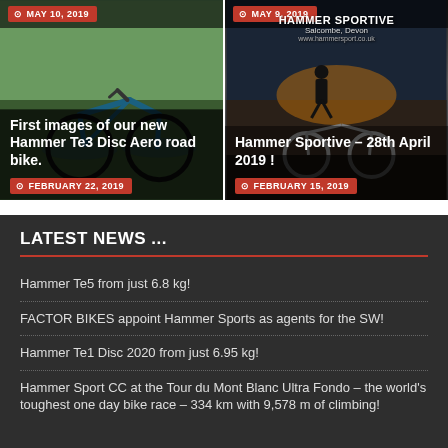[Figure (photo): Blue road bike (Hammer Te3 Disc Aero) on grass/ground, with date badge MAY 10 2019 at top and card title and FEBRUARY 22 2019 date badge.]
[Figure (photo): Hammer Sportive promotional image with Salcombe Devon text, silhouette cyclist, bike wheel, date badges MAY 9 2019 at top and FEBRUARY 15 2019 at bottom.]
LATEST NEWS ...
Hammer Te5 from just 6.8 kg!
FACTOR BIKES appoint Hammer Sports as agents for the SW!
Hammer Te1 Disc 2020 from just 6.95 kg!
Hammer Sport CC at the Tour du Mont Blanc Ultra Fondo – the world's toughest one day bike race – 334 km with 9,578 m of climbing!